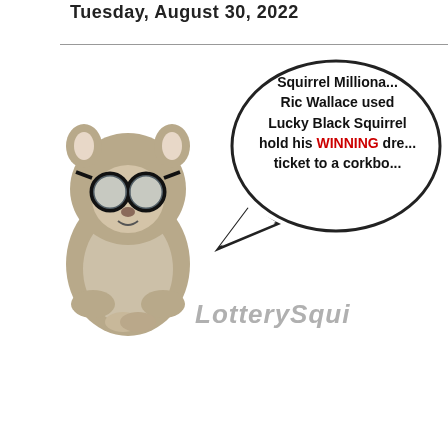Tuesday, August 30, 2022
[Figure (illustration): A squirrel wearing black-rimmed glasses with a speech bubble, positioned on a corkboard background. The speech bubble reads: Squirrel Millionaire Ric Wallace used a Lucky Black Squirrel to hold his WINNING dream ticket to a corkboard. Italic watermark text: LotterySqui...]
[Figure (photo): A corkboard with a WinFall Lottery official lottery ticket pinned to it showing RIC WALLACE, 114 - 9TH ADELAIDE ST S, LONDON ON N5Z 2N3, with lottery numbers. Small black squirrel pins on the corkboard. A partial second ticket/card visible on the right edge with MONDO text.]